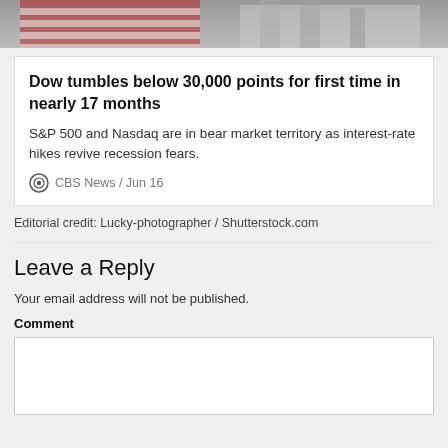[Figure (photo): Partial view of American flags and a building, grayscale/muted tones at top of page]
Dow tumbles below 30,000 points for first time in nearly 17 months
S&P 500 and Nasdaq are in bear market territory as interest-rate hikes revive recession fears.
CBS News / Jun 16
Editorial credit: Lucky-photographer / Shutterstock.com
Leave a Reply
Your email address will not be published.
Comment